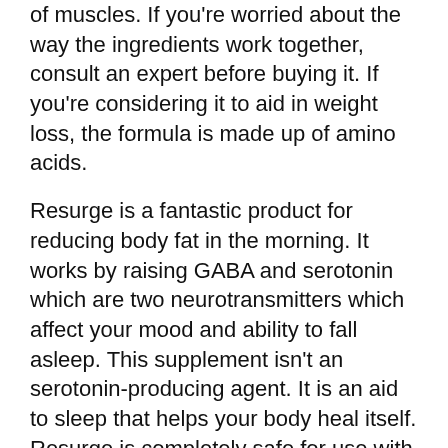of muscles. If you're worried about the way the ingredients work together, consult an expert before buying it. If you're considering it to aid in weight loss, the formula is made up of amino acids.
Resurge is a fantastic product for reducing body fat in the morning. It works by raising GABA and serotonin which are two neurotransmitters which affect your mood and ability to fall asleep. This supplement isn't an serotonin-producing agent. It is an aid to sleep that helps your body heal itself. Resurge is completely safe for use with no adverse effects. Resurge is completely safe as the manufacturer has committed to it. It is only available on prescription.